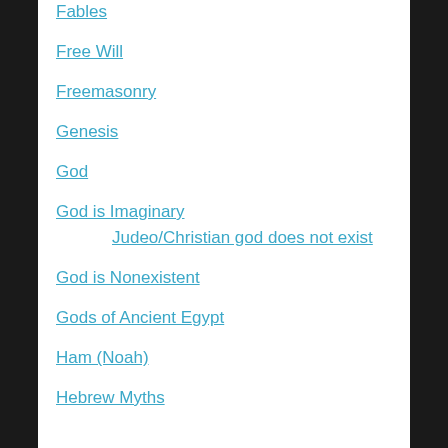Fables
Free Will
Freemasonry
Genesis
God
God is Imaginary
Judeo/Christian god does not exist
God is Nonexistent
Gods of Ancient Egypt
Ham (Noah)
Hebrew Myths